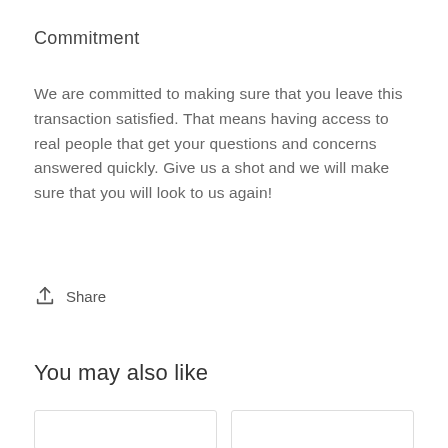Commitment
We are committed to making sure that you leave this transaction satisfied. That means having access to real people that get your questions and concerns answered quickly. Give us a shot and we will make sure that you will look to us again!
Share
You may also like